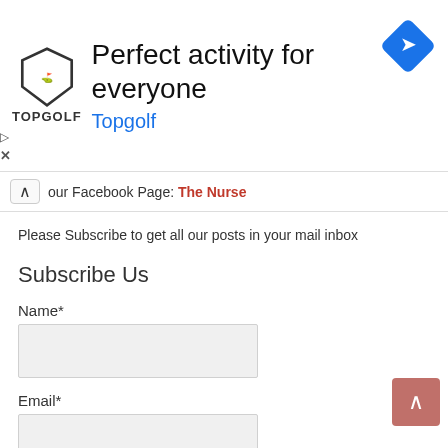[Figure (screenshot): Topgolf advertisement banner with logo, tagline 'Perfect activity for everyone', brand name 'Topgolf' in blue, and a blue navigation/directions icon in the top right corner.]
our Facebook Page: The Nurse
Please Subscribe to get all our posts in your mail inbox
Subscribe Us
Name*
Email*
Submit
Post Views: 3,184